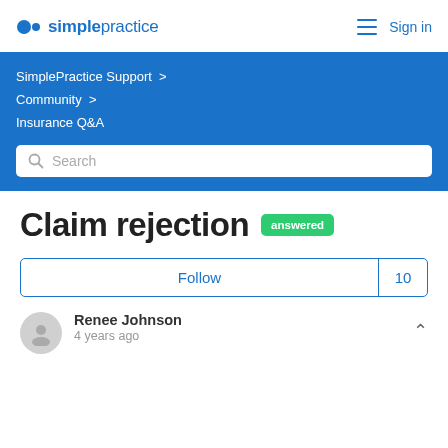simplepractice  Sign in
SimplePractice Support > Community > Insurance Q&A
Search
Claim rejection  answered
Follow  10
Renee Johnson
4 years ago